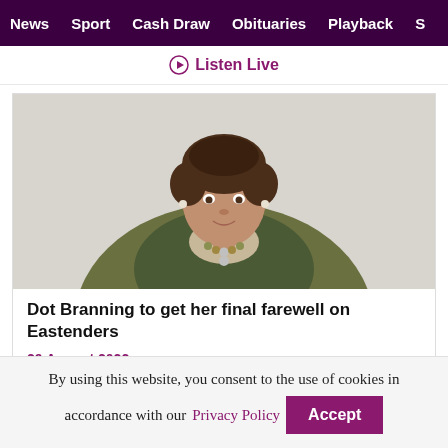News  Sport  Cash Draw  Obituaries  Playback  S
▶ Listen Live
[Figure (photo): Elderly woman with short brown hair, wearing a green cardigan, light patterned blouse, and a beaded necklace, seated on an olive green chair against a light background.]
Dot Branning to get her final farewell on Eastenders
29 August 2022
By using this website, you consent to the use of cookies in accordance with our Privacy Policy
Accept